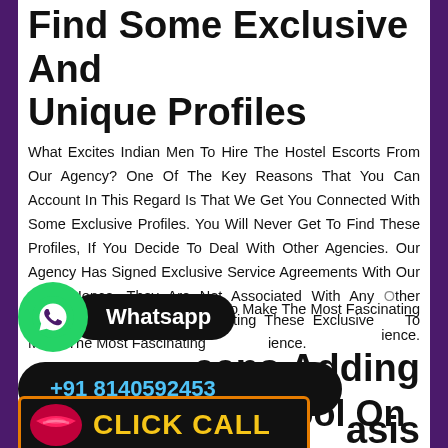Find Some Exclusive And Unique Profiles
What Excites Indian Men To Hire The Hostel Escorts From Our Agency? One Of The Key Reasons That You Can Account In This Regard Is That We Get You Connected With Some Exclusive Profiles. You Will Never Get To Find These Profiles, If You Decide To Deal With Other Agencies. Our Agency Has Signed Exclusive Service Agreements With Our Girls. Hence, They Are Not Associated With Any Other Escort Service Agencies. Meeting These Exclusive [profiles is going] To Make The Most Fascinating [experience].
[Figure (other): WhatsApp button with green circle icon and black rounded rectangle label saying Whatsapp]
[Figure (other): Phone number button: +91 8140592453 on black rounded rectangle]
...Agency Keeps Adding ...to Our Pool On ...basis
[Figure (other): CLICK CALL button with lips emoji on black background with orange border]